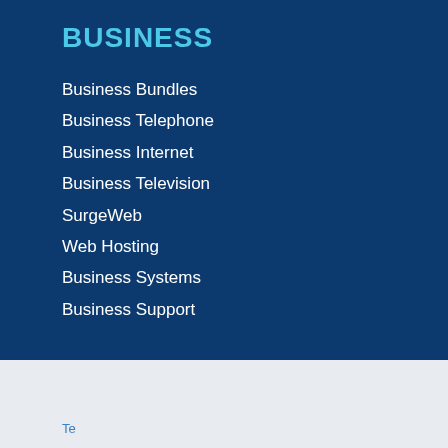BUSINESS
Business Bundles
Business Telephone
Business Internet
Business Television
SurgeWeb
Web Hosting
Business Systems
Business Support
[Figure (logo): HTC logo in a white circle above a blue chat popup widget that says 'Welcome to HTC's Live Chat' and has a 'Chat Now!' button]
Te